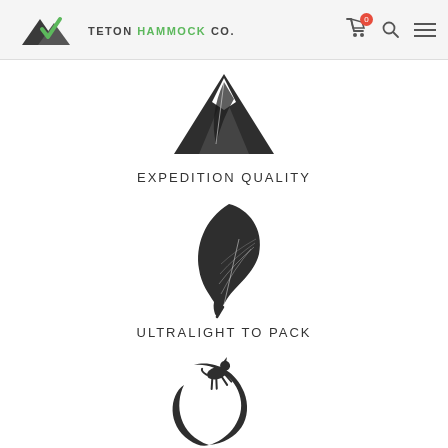TETON HAMMOCK CO.
[Figure (logo): Mountain silhouette icon with feather/wing overlay — Teton Hammock Co. icon]
EXPEDITION QUALITY
[Figure (illustration): Dark silhouette of a feather]
ULTRALIGHT TO PACK
[Figure (illustration): Dark silhouette of a mountain goat jumping over a crescent moon]